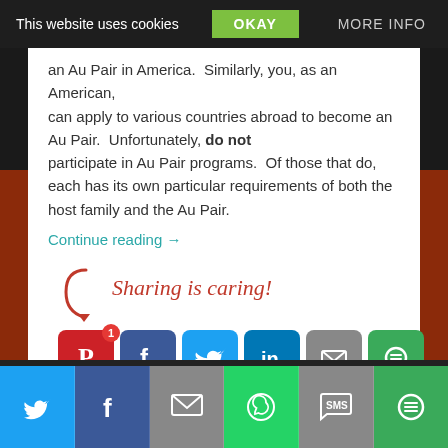This website uses cookies | OKAY | MORE INFO
an Au Pair in America. Similarly, you, as an American, can apply to various countries abroad to become an Au Pair. Unfortunately, do not participate in Au Pair programs. Of those that do, each has its own particular requirements of both the host family and the Au Pair.
Continue reading →
[Figure (infographic): Sharing is caring! section with social media share buttons: Pinterest (with badge 1), Facebook, Twitter, LinkedIn, Email, More]
October 28, 2017   0
[Figure (infographic): Bottom sharing bar with icons: Twitter, Facebook, Email, WhatsApp, SMS, More]